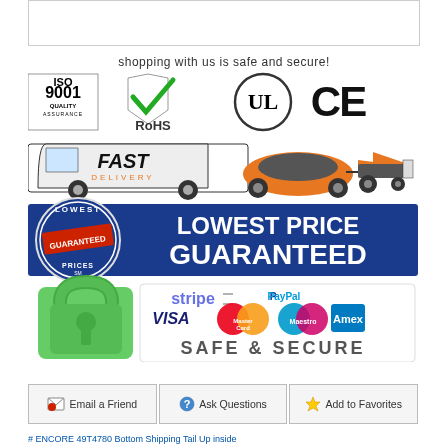[Figure (infographic): Empty white box with border at top]
shopping with us is safe and secure!
[Figure (infographic): Trust badges: ISO 9001 Quality Assurance, RoHS checkmark, UL certified circle, CE mark, Fast Delivery truck, freight vehicles, Lowest Price Guaranteed banner, Secure payment with Stripe, PayPal, Visa, MasterCard, Maestro, Amex logos and green padlock]
[Figure (infographic): Button row: Email a Friend, Ask Questions, Add to Favorites]
# ENCORE 49T4780 Bottom Shipping Tail Up inside